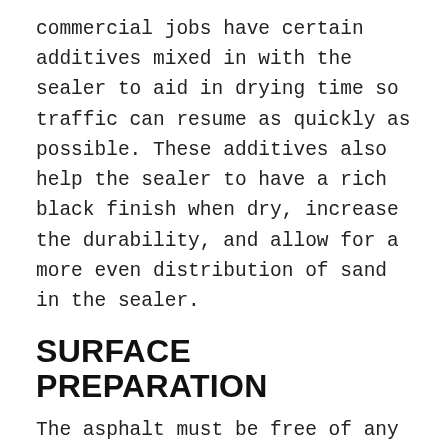commercial jobs have certain additives mixed in with the sealer to aid in drying time so traffic can resume as quickly as possible. These additives also help the sealer to have a rich black finish when dry, increase the durability, and allow for a more even distribution of sand in the sealer.
SURFACE PREPARATION
The asphalt must be free of any debris before it can be sealed or the sealer will wear prematurely. To accomplish this we use a combination of tools to ensure a clean working surface weed eaters are used to trim excess grass. Also, brooms and shovels are